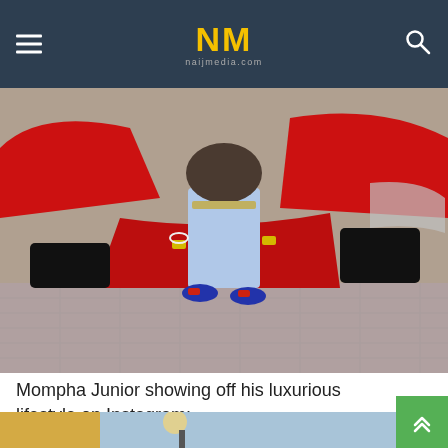NM naijmedia.com
[Figure (photo): Person standing in front of a red Lamborghini Aventador on a brick-paved surface, wearing ripped jeans, a Gucci belt, wristwatches, and blue/red sneakers.]
Mompha Junior showing off his luxurious lifestyle on Instagram:
[Figure (photo): Partial view of a second photo showing an outdoor scene with a yellow/gold wall and a lamp post.]